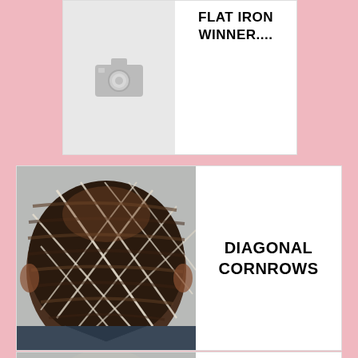[Figure (photo): Placeholder image with camera icon indicating a missing photo, likely related to flat iron hairstyle winner]
FLAT IRON WINNER....
[Figure (photo): Photo of a child's head showing diagonal cornrows braided hairstyle, viewed from above/behind]
DIAGONAL CORNROWS
[Figure (photo): Partial photo of another hairstyle, cut off at bottom of page]